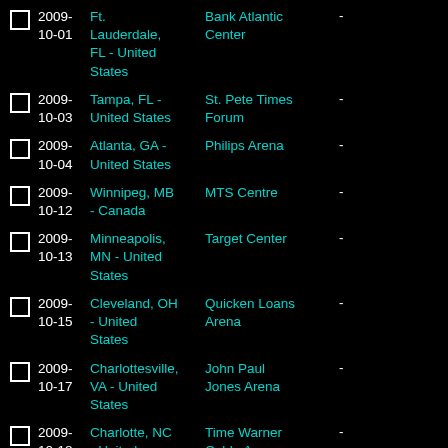2009-10-01 | Ft. Lauderdale, FL - United States | Bank Atlantic Center | -
2009-10-03 | Tampa, FL - United States | St. Pete Times Forum | -
2009-10-04 | Atlanta, GA - United States | Philips Arena | -
2009-10-12 | Winnipeg, MB - Canada | MTS Centre | -
2009-10-13 | Minneapolis, MN - United States | Target Center | -
2009-10-15 | Cleveland, OH - United States | Quicken Loans Arena | -
2009-10-17 | Charlottesville, VA - United States | John Paul Jones Arena | -
2009-10-18 | Charlotte, NC - United States | Time Warner Cable Arena | -
2009-10-?? | Toronto, ON - Canada | Air Canada Centre | -